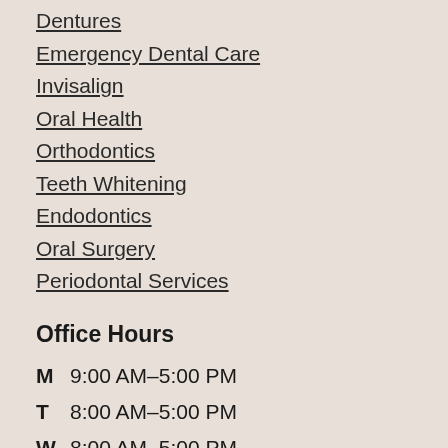Dentures
Emergency Dental Care
Invisalign
Oral Health
Orthodontics
Teeth Whitening
Endodontics
Oral Surgery
Periodontal Services
Office Hours
| Day | Hours |
| --- | --- |
| M | 9:00 AM–5:00 PM |
| T | 8:00 AM–5:00 PM |
| W | 8:00 AM–5:00 PM |
| T | 8:00 AM–5:00 PM |
| F | 8:00 AM–1:00 PM |